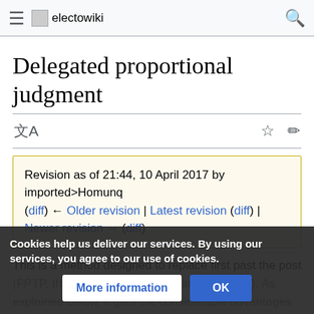electowiki
Delegated proportional judgment
Revision as of 21:44, 10 April 2017 by imported>Homunq
(diff) ← Older revision | Latest revision (diff) |
Newer revision → (diff)
This is a method designed to replace first past the post (FPTP, that is, single-member district plurality). As explained below, it gets the considerable advantages of proportional representation without giving up any of the convenience o... follows:
Cookies help us deliver our services. By using our services, you agree to our use of cookies.
More information | OK